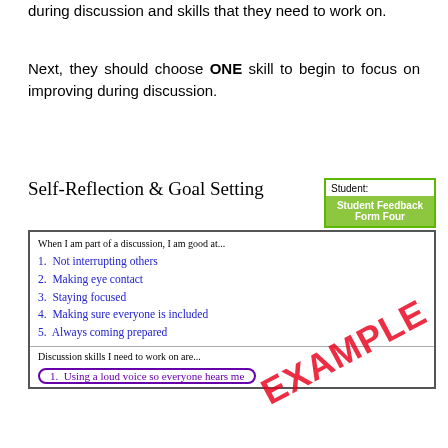Students should reflect on the skills that they are strong at during discussion and skills that they need to work on.
Next, they should choose ONE skill to begin to focus on improving during discussion.
Self-Reflection & Goal Setting
Student: | Student Feedback Form Four
| When I am part of a discussion, I am good at... |
| 1. Not interrupting others |
| 2. Making eye contact |
| 3. Staying focused |
| 4. Making sure everyone is included |
| 5. Always coming prepared |
| Discussion skills I need to work on are... |
| 1. Using a loud voice so everyone hears me |
[Figure (other): Red diagonal EXAMPLE stamp overlaid on the student feedback form]